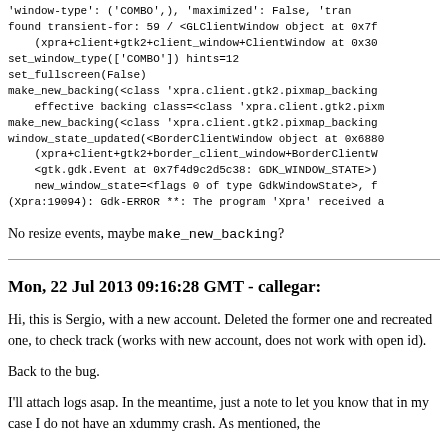'window-type': ('COMBO',), 'maximized': False, 'trans...
found transient-for: 59 / <GLClientWindow object at 0x7f...
    (xpra+client+gtk2+client_window+ClientWindow at 0x30...
set_window_type(['COMBO']) hints=12
set_fullscreen(False)
make_new_backing(<class 'xpra.client.gtk2.pixmap_backing...
    effective backing class=<class 'xpra.client.gtk2.pixm...
make_new_backing(<class 'xpra.client.gtk2.pixmap_backing...
window_state_updated(<BorderClientWindow object at 0x688...
    (xpra+client+gtk2+border_client_window+BorderClientW...
    <gtk.gdk.Event at 0x7f4d9c2d5c38: GDK_WINDOW_STATE>)
    new_window_state=<flags 0 of type GdkWindowState>, f...
(Xpra:19094): Gdk-ERROR **: The program 'Xpra' received a...
No resize events, maybe make_new_backing?
Mon, 22 Jul 2013 09:16:28 GMT - callegar:
Hi, this is Sergio, with a new account. Deleted the former one and recreated one, to check track (works with new account, does not work with open id).
Back to the bug.
I'll attach logs asap. In the meantime, just a note to let you know that in my case I do not have an xdummy crash. As mentioned, the ...